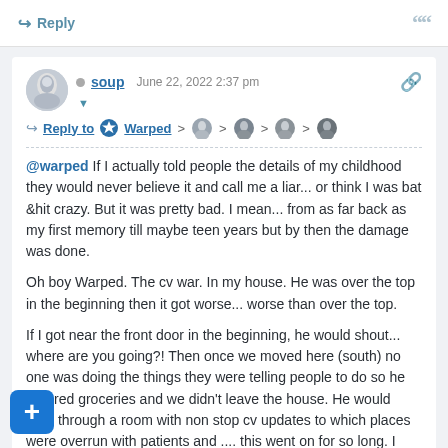Reply
soup   June 22, 2022 2:37 pm
Reply to Warped
@warped If I actually told people the details of my childhood they would never believe it and call me a liar... or think I was bat &hit crazy. But it was pretty bad. I mean... from as far back as my first memory till maybe teen years but by then the damage was done.

Oh boy Warped. The cv war. In my house. He was over the top in the beginning then it got worse... worse than over the top.

If I got near the front door in the beginning, he would shout... where are you going?! Then once we moved here (south) no one was doing the things they were telling people to do so he ordered groceries and we didn't leave the house. He would walk through a room with non stop cv updates to which places were overrun with patients and .... this went on for so long. I sunk into such a depression. Isolated from